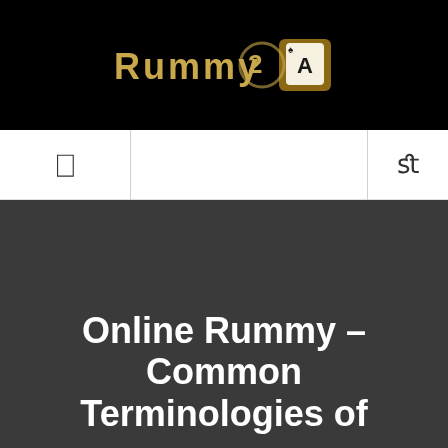[Figure (logo): Rummy website logo with golden text and playing card icon on black background]
Navigation bar with menu icon and search icon
Online Rummy – Common Terminologies of